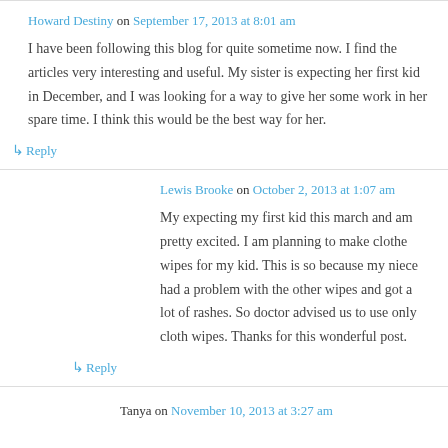Howard Destiny on September 17, 2013 at 8:01 am
I have been following this blog for quite sometime now. I find the articles very interesting and useful. My sister is expecting her first kid in December, and I was looking for a way to give her some work in her spare time. I think this would be the best way for her.
↳ Reply
Lewis Brooke on October 2, 2013 at 1:07 am
My expecting my first kid this march and am pretty excited. I am planning to make clothe wipes for my kid. This is so because my niece had a problem with the other wipes and got a lot of rashes. So doctor advised us to use only cloth wipes. Thanks for this wonderful post.
↳ Reply
Tanya on November 10, 2013 at 3:27 am